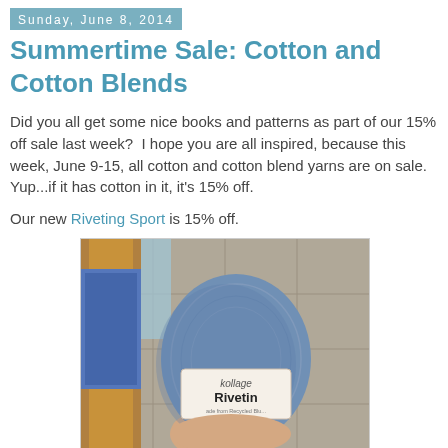Sunday, June 8, 2014
Summertime Sale: Cotton and Cotton Blends
Did you all get some nice books and patterns as part of our 15% off sale last week?  I hope you are all inspired, because this week, June 9-15, all cotton and cotton blend yarns are on sale.  Yup...if it has cotton in it, it's 15% off.
Our new Riveting Sport is 15% off.
[Figure (photo): A hand holding a skein of blue-grey Kollage Riveting yarn in front of a door and tiled surface]